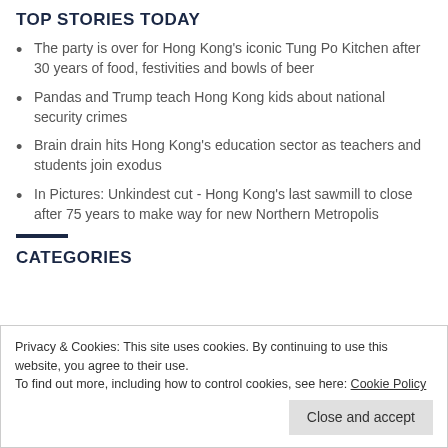TOP STORIES TODAY
The party is over for Hong Kong's iconic Tung Po Kitchen after 30 years of food, festivities and bowls of beer
Pandas and Trump teach Hong Kong kids about national security crimes
Brain drain hits Hong Kong's education sector as teachers and students join exodus
In Pictures: Unkindest cut - Hong Kong's last sawmill to close after 75 years to make way for new Northern Metropolis
CATEGORIES
Privacy & Cookies: This site uses cookies. By continuing to use this website, you agree to their use.
To find out more, including how to control cookies, see here: Cookie Policy
Close and accept